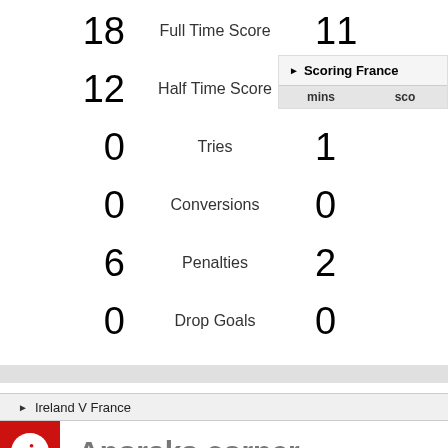| Left Score | Stat | Right Score |
| --- | --- | --- |
| 18 | Full Time Score | 11 |
| 12 | Half Time Score | 6 |
| 0 | Tries | 1 |
| 0 | Conversions | 0 |
| 6 | Penalties | 2 |
| 0 | Drop Goals | 0 |
Scoring France
| mins | sco |
| --- | --- |
Ireland V France
Anoraks corner
Statistics for Ireland V France
Match officials
Referee: